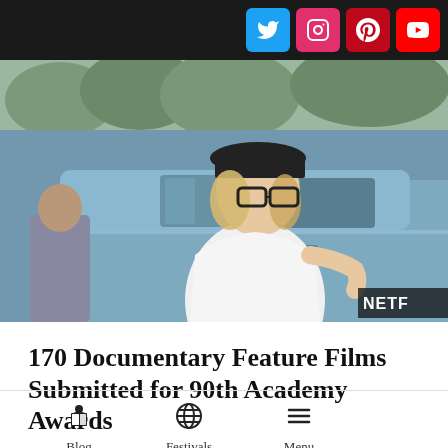[Figure (other): Top navigation bar with social media icons: Twitter (blue), Instagram (pink/red), Pinterest (red), YouTube (red) on a dark background]
[Figure (photo): Documentary film still showing a woman with blonde hair, black cap, glasses, and white t-shirt standing next to a light blue vintage car, with a Netflix watermark in bottom right corner]
170 Documentary Feature Films Submitted for 90th Academy Awards
[Figure (infographic): Bottom navigation bar with three icons and labels: Blog (person/book icon), Festivals (globe icon), Menu (hamburger lines icon)]